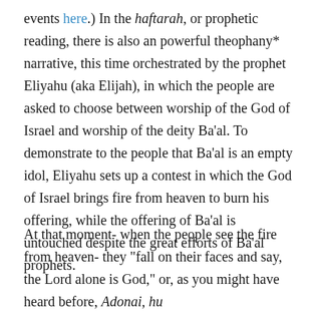events here.) In the haftarah, or prophetic reading, there is also an powerful theophany* narrative, this time orchestrated by the prophet Eliyahu (aka Elijah), in which the people are asked to choose between worship of the God of Israel and worship of the deity Ba’al. To demonstrate to the people that Ba’al is an empty idol, Eliyahu sets up a contest in which the God of Israel brings fire from heaven to burn his offering, while the offering of Ba’al is untouched despite the great efforts of Ba’al prophets.
At that moment- when the people see the fire from heaven- they “fall on their faces and say, the Lord alone is God,” or, as you might have heard before, Adonai, hu